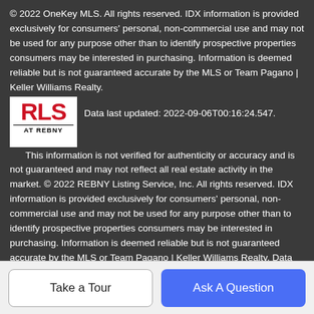© 2022 OneKey MLS. All rights reserved. IDX information is provided exclusively for consumers' personal, non-commercial use and may not be used for any purpose other than to identify prospective properties consumers may be interested in purchasing. Information is deemed reliable but is not guaranteed accurate by the MLS or Team Pagano | Keller Williams Realty.
[Figure (logo): RLS AT REBNY logo — red bold 'RLS' text above 'AT REBNY' in black on white background]
Data last updated: 2022-09-06T00:16:24.547.
This information is not verified for authenticity or accuracy and is not guaranteed and may not reflect all real estate activity in the market. © 2022 REBNY Listing Service, Inc. All rights reserved. IDX information is provided exclusively for consumers' personal, non-commercial use and may not be used for any purpose other than to identify prospective properties consumers may be interested in purchasing. Information is deemed reliable but is not guaranteed accurate by the MLS or Team Pagano | Keller Williams Realty. Data last updated: 2022-09-06T00:44:34.427.
Take a Tour
Ask A Question